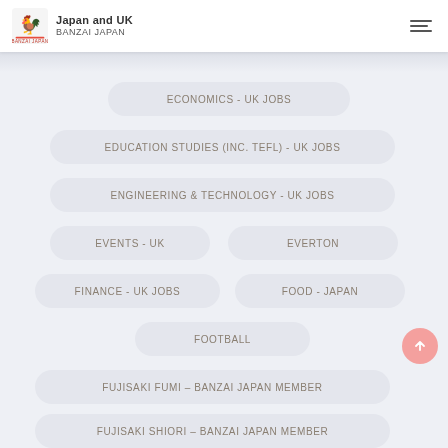Japan and UK | BANZAI JAPAN
ECONOMICS - UK JOBS
EDUCATION STUDIES (INC. TEFL) - UK JOBS
ENGINEERING & TECHNOLOGY - UK JOBS
EVENTS - UK
EVERTON
FINANCE - UK JOBS
FOOD - JAPAN
FOOTBALL
FUJISAKI FUMI – BANZAI JAPAN MEMBER
FUJISAKI SHIORI – BANZAI JAPAN MEMBER
FUJITANI TSUKASA – BANZAI JAPAN MEMBER